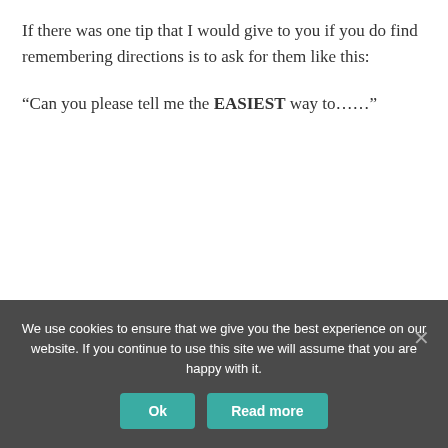If there was one tip that I would give to you if you do find remembering directions is to ask for them like this:
“Can you please tell me the EASIEST way to……”
We use cookies to ensure that we give you the best experience on our website. If you continue to use this site we will assume that you are happy with it.